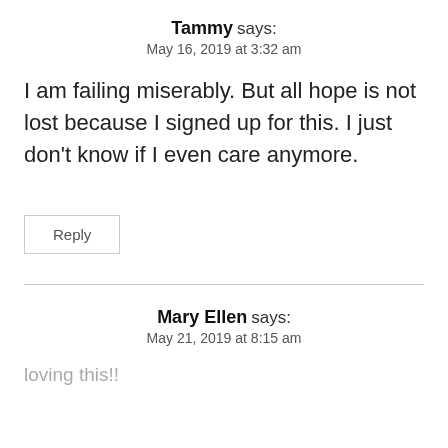Tammy says:
May 16, 2019 at 3:32 am
I am failing miserably. But all hope is not lost because I signed up for this. I just don't know if I even care anymore.
Reply
Mary Ellen says:
May 21, 2019 at 8:15 am
loving this!!